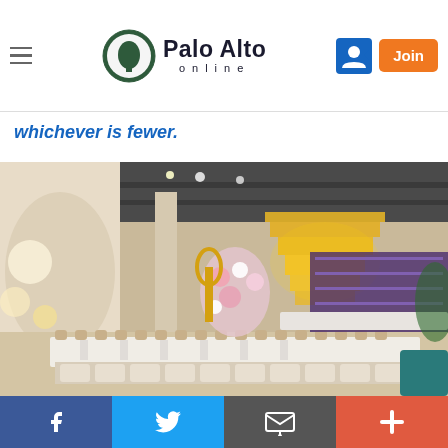Palo Alto Online
whichever is fewer.
[Figure (photo): Interior of an upscale restaurant with a large golden tiered chandelier hanging from an industrial-style ceiling with exposed beams. A long white dining table is set with place settings. In the background, there is a bar area lit with purple lights and a floral wall installation with a gold decorative arch.]
Social share bar: Facebook, Twitter, Email, Plus